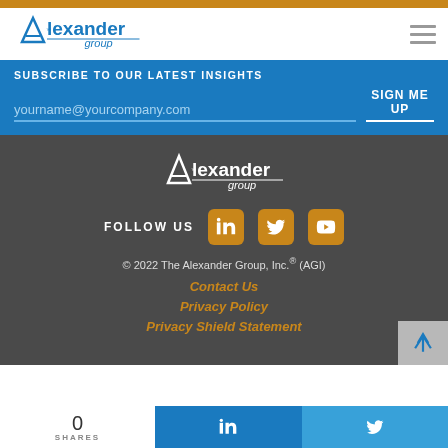[Figure (logo): Alexander Group logo in blue with triangle A icon]
SUBSCRIBE TO OUR LATEST INSIGHTS
yourname@yourcompany.com
SIGN ME UP
[Figure (logo): Alexander Group logo in white for dark background]
FOLLOW US
© 2022 The Alexander Group, Inc.® (AGI)
Contact Us
Privacy Policy
Privacy Shield Statement
0 SHARES